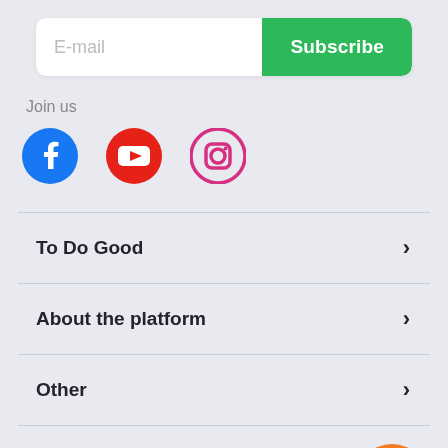[Figure (screenshot): Email input field with Subscribe button]
Join us
[Figure (illustration): Social media icons: Facebook, YouTube, Instagram]
To Do Good >
About the platform >
Other >
[Figure (illustration): Viber bot button and Help dobro.ua badge]